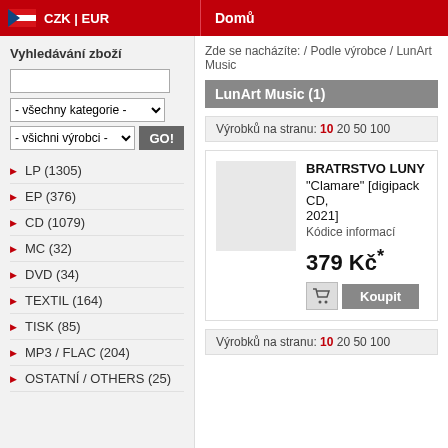CZK | EUR  Domů
Vyhledávání zboží
Zde se nacházíte: / Podle výrobce / LunArt Music
LunArt Music (1)
Výrobků na stranu: 10 20 50 100
BRATRSTVO LUNY "Clamare" [digipack CD, 2021] Kódice informací 379 Kč*
Výrobků na stranu: 10 20 50 100
LP (1305)
EP (376)
CD (1079)
MC (32)
DVD (34)
TEXTIL (164)
TISK (85)
MP3 / FLAC (204)
OSTATNÍ / OTHERS (25)